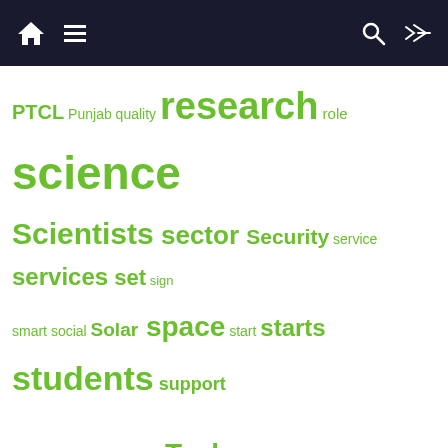Navigation bar with home, menu, search, and shuffle icons
PTCL Punjab quality research role science Scientists sector Security service services set sign smart social Solar space start starts students support sustainable system Tech Technology telecom Telenor top training World world science
About us
[Figure (logo): Technology Times logo with gear icon and URL www.technologytimes.pk]
Science & technology sector remain neglected in Pakistan; both at government and public level. Even, when it comes to